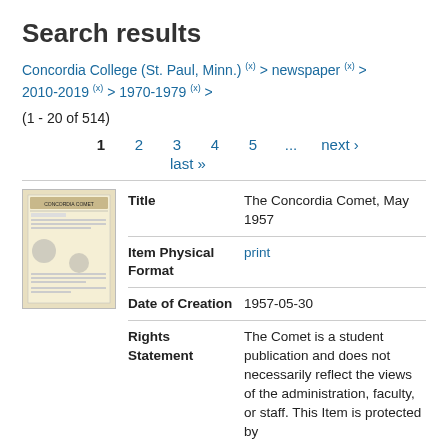Search results
Concordia College (St. Paul, Minn.) (x) > newspaper (x) > 2010-2019 (x) > 1970-1979 (x) >
(1 - 20 of 514)
1   2   3   4   5   ...   next ›
last »
|  | Field | Value |
| --- | --- | --- |
| [thumbnail] | Title | The Concordia Comet, May 1957 |
|  | Item Physical Format | print |
|  | Date of Creation | 1957-05-30 |
|  | Rights Statement | The Comet is a student publication and does not necessarily reflect the views of the administration, faculty, or staff. This Item is protected by |